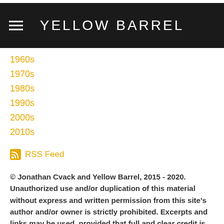YELLOW BARREL
1960s
1970s
1980s
1990s
2000s
2010s
RSS Feed
© Jonathan Cvack and Yellow Barrel, 2015 - 2020. Unauthorized use and/or duplication of this material without express and written permission from this site's author and/or owner is strictly prohibited. Excerpts and links may be used, provided that full and clear credit is given to Jon Cvack and Yellow Barrel with appropriate